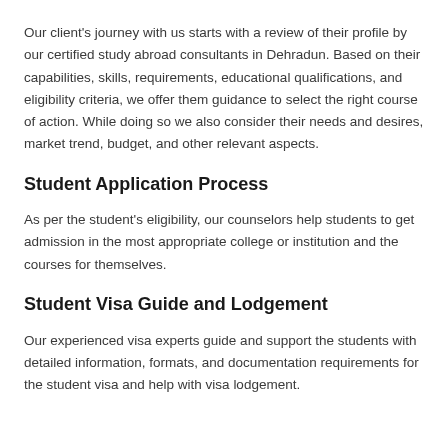Our client's journey with us starts with a review of their profile by our certified study abroad consultants in Dehradun. Based on their capabilities, skills, requirements, educational qualifications, and eligibility criteria, we offer them guidance to select the right course of action. While doing so we also consider their needs and desires, market trend, budget, and other relevant aspects.
Student Application Process
As per the student's eligibility, our counselors help students to get admission in the most appropriate college or institution and the courses for themselves.
Student Visa Guide and Lodgement
Our experienced visa experts guide and support the students with detailed information, formats, and documentation requirements for the student visa and help with visa lodgement.